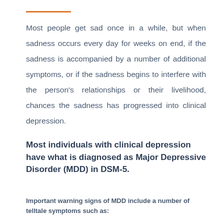Most people get sad once in a while, but when sadness occurs every day for weeks on end, if the sadness is accompanied by a number of additional symptoms, or if the sadness begins to interfere with the person's relationships or their livelihood, chances the sadness has progressed into clinical depression.
Most individuals with clinical depression have what is diagnosed as Major Depressive Disorder (MDD) in DSM-5.
Important warning signs of MDD include a number of telltale symptoms such as: